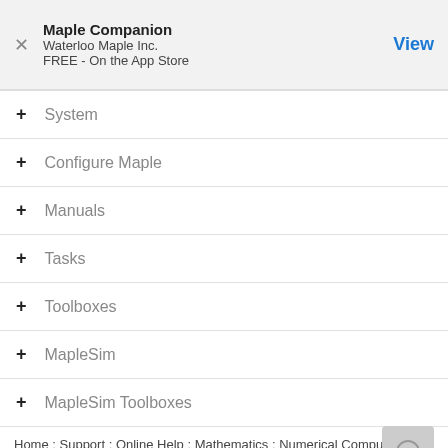Maple Companion
Waterloo Maple Inc.
FREE - On the App Store
System
Configure Maple
Manuals
Tasks
Toolboxes
MapleSim
MapleSim Toolboxes
Home : Support : Online Help : Mathematics : Numerical Computations : Maple Numerics : Types : integer